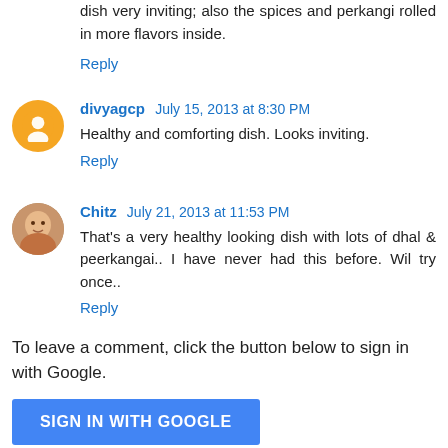dish very inviting; also the spices and perkangi rolled in more flavors inside.
Reply
divyagcp July 15, 2013 at 8:30 PM
Healthy and comforting dish. Looks inviting.
Reply
Chitz July 21, 2013 at 11:53 PM
That's a very healthy looking dish with lots of dhal & peerkangai.. I have never had this before. Wil try once..
Reply
To leave a comment, click the button below to sign in with Google.
SIGN IN WITH GOOGLE